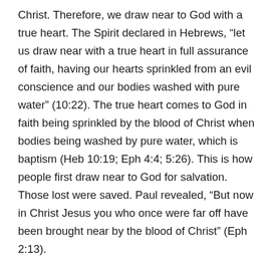Christ. Therefore, we draw near to God with a true heart. The Spirit declared in Hebrews, “let us draw near with a true heart in full assurance of faith, having our hearts sprinkled from an evil conscience and our bodies washed with pure water” (10:22). The true heart comes to God in faith being sprinkled by the blood of Christ when bodies being washed by pure water, which is baptism (Heb 10:19; Eph 4:4; 5:26). This is how people first draw near to God for salvation. Those lost were saved. Paul revealed, “But now in Christ Jesus you who once were far off have been brought near by the blood of Christ” (Eph 2:13).

Jesus declared in Revelation 3:20, “Behold, I